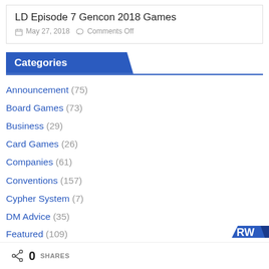LD Episode 7 Gencon 2018 Games
May 27, 2018   Comments Off
Categories
Announcement (75)
Board Games (73)
Business (29)
Card Games (26)
Companies (61)
Conventions (157)
Cypher System (7)
DM Advice (35)
0 SHARES